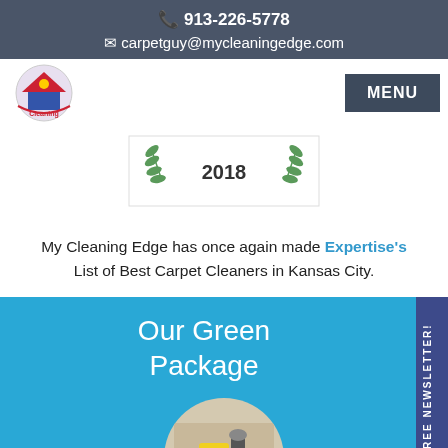📞 913-226-5778 ✉ carpetguy@mycleaningedge.com
[Figure (logo): My Cleaning Edge circular logo with house and cleaning imagery]
[Figure (logo): MENU button - dark navy rectangle]
[Figure (illustration): 2018 award badge with green laurel wreath graphic]
My Cleaning Edge has once again made Expertise's List of Best Carpet Cleaners in Kansas City.
Our Green Package
[Figure (photo): Circular cropped photo showing carpet cleaning supplies - yellow sponge and spray bottle on carpet]
FREE NEWSLETTER!